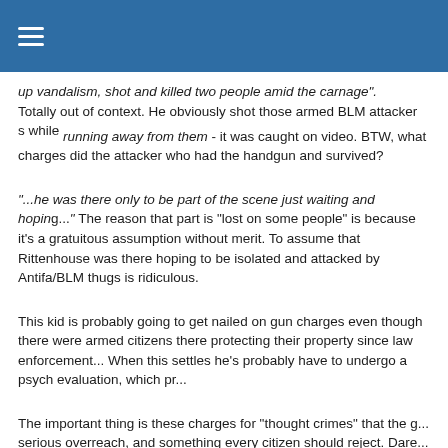Navigation header bar
up vandalism, shot and killed two people amid the carnage". Totally out of context. He obviously shot those armed BLM attackers while running away from them - it was caught on video. BTW, what charges did the attacker who had the handgun and survived?
"...he was there only to be part of the scene just waiting and hoping..." The reason that part is "lost on some people" is because it's a gratuitous assumption without merit. To assume that Rittenhouse was there hoping to be isolated and attacked by Antifa/BLM thugs is ridiculous.
This kid is probably going to get nailed on gun charges even though there were armed citizens there protecting their property since law enforcement... When this settles he's probably have to undergo a psych evaluation, which p...
The important thing is these charges for "thought crimes" that the g... serious overreach, and something every citizen should reject. Dare... of the National German Socialist Workers Party?
RoadTime
roadeves